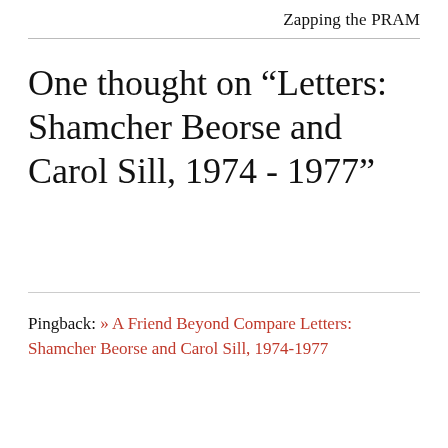Zapping the PRAM
One thought on “Letters: Shamcher Beorse and Carol Sill, 1974 - 1977”
Pingback: » A Friend Beyond Compare Letters: Shamcher Beorse and Carol Sill, 1974-1977